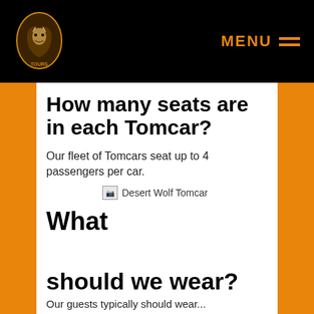Desert Wolf Tours navigation bar with logo and MENU
How many seats are in each Tomcar?
Our fleet of Tomcars seat up to 4 passengers per car.
[Figure (photo): Desert Wolf Tomcar image (broken/loading placeholder)]
What
should we wear?
Our guests typically should wear...